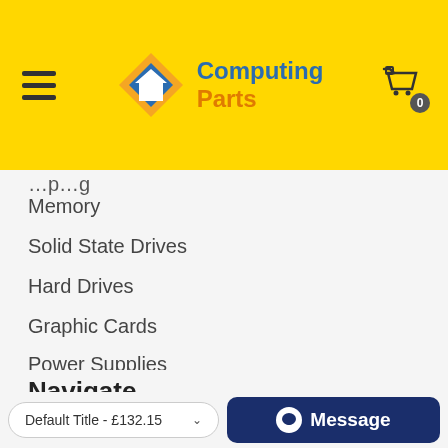Computing Parts
Memory
Solid State Drives
Hard Drives
Graphic Cards
Power Supplies
Network Adapters
Navigate
About Us
Default Title - £132.15
Message